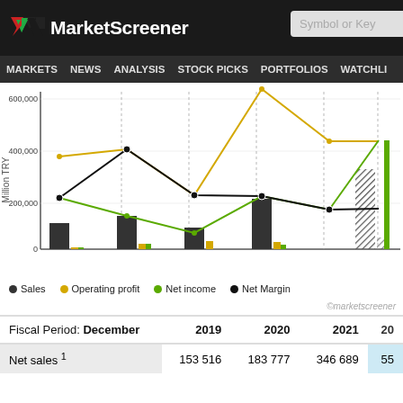MarketScreener
[Figure (line-chart): Sales, Operating profit, Net income, Net Margin (Million TRY)]
©marketscreener
| Fiscal Period: December | 2019 | 2020 | 2021 | 20... |
| --- | --- | --- | --- | --- |
| Net sales 1 | 153 516 | 183 777 | 346 689 | 55... |